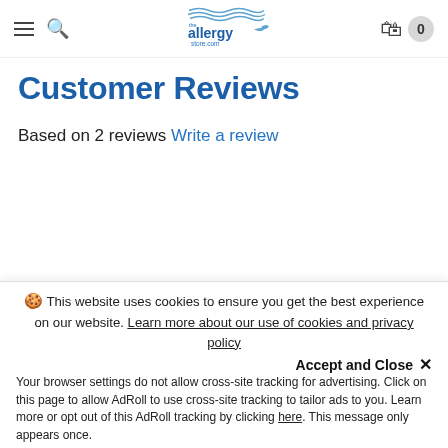theallergysore.com navigation header with hamburger menu, search, logo, cart (0)
Customer Reviews
Based on 2 reviews Write a review
You may also like...
🍪 This website uses cookies to ensure you get the best experience on our website. Learn more about our use of cookies and privacy policy
Accept and Close ✕
Your browser settings do not allow cross-site tracking for advertising. Click on this page to allow AdRoll to use cross-site tracking to tailor ads to you. Learn more or opt out of this AdRoll tracking by clicking here. This message only appears once.